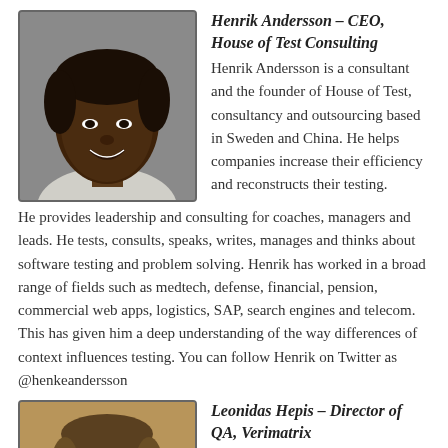[Figure (photo): Portrait photo of Henrik Andersson, a smiling man with dark skin and curly dark hair, wearing a light-colored shirt.]
Henrik Andersson – CEO, House of Test Consulting
Henrik Andersson is a consultant and the founder of House of Test, consultancy and outsourcing based in Sweden and China. He helps companies increase their efficiency and reconstructs their testing. He provides leadership and consulting for coaches, managers and leads. He tests, consults, speaks, writes, manages and thinks about software testing and problem solving. Henrik has worked in a broad range of fields such as medtech, defense, financial, pension, commercial web apps, logistics, SAP, search engines and telecom. This has given him a deep understanding of the way differences of context influences testing. You can follow Henrik on Twitter as @henkeandersson
[Figure (photo): Sepia-toned portrait photo of Leonidas Hepis, a man with short hair and a mustache/beard, facing slightly to the side.]
Leonidas Hepis – Director of QA, Verimatrix
Leonidas Hepis has been testing software and managing software test teams since 1994. He helps organizations understand what can be known and what cannot be known through